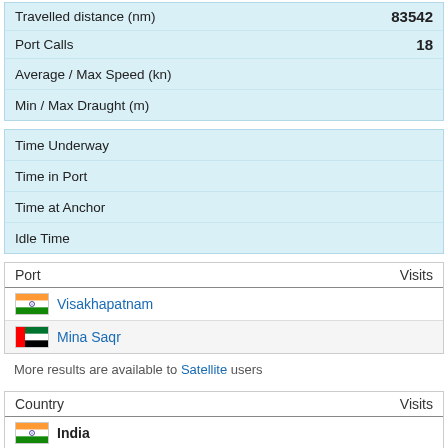|  |  |
| --- | --- |
| Travelled distance (nm) | 83542 |
| Port Calls | 18 |
| Average / Max Speed (kn) | 🔒 |
| Min / Max Draught (m) | 🔒 |
|  |  |
| --- | --- |
| Time Underway | 🔒 |
| Time in Port | 🔒 |
| Time at Anchor | 🔒 |
| Idle Time | 🔒 |
| Port | Visits |
| --- | --- |
| Visakhapatnam (India) | 🔒 |
| Mina Saqr (UAE) | 🔒 |
More results are available to Satellite users
| Country | Visits |
| --- | --- |
| India | 🔒 |
| United Arab Emirates (UAE) | 🔒 |
More results are available to Satellite users